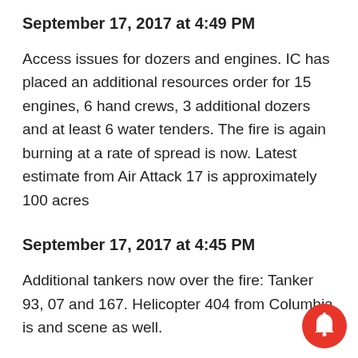September 17, 2017 at 4:49 PM
Access issues for dozers and engines. IC has placed an additional resources order for 15 engines, 6 hand crews, 3 additional dozers and at least 6 water tenders. The fire is again burning at a rate of spread is now. Latest estimate from Air Attack 17 is approximately 100 acres
September 17, 2017 at 4:45 PM
Additional tankers now over the fire: Tanker 93, 07 and 167. Helicopter 404 from Columbia is and scene as well.